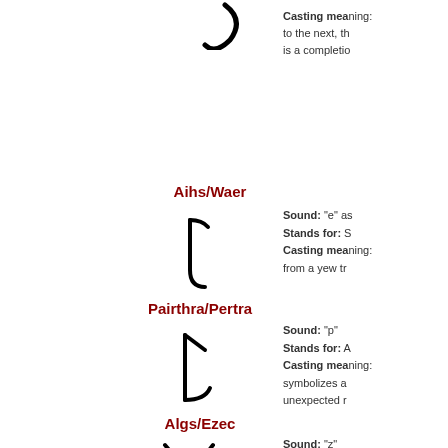[Figure (illustration): Large rune symbol (partial, cut off at top) for the previous entry]
Casting mea... to the next, th... is a completic...
Aihs/Waer
[Figure (illustration): Rune symbol for Aihs/Waer — resembles a musical note or hooked vertical stroke]
Sound: "e" a...
Stands for: S...
Casting mea...
from a yew tr...
Pairthra/Pertra
[Figure (illustration): Rune symbol for Pairthra/Pertra — resembles bracket with curved bottom]
Sound: "p"
Stands for: A...
Casting mea...
symbolizes a...
unexpected r...
Algs/Ezec
[Figure (illustration): Rune symbol for Algs/Ezec — resembles a Y shape or upward fork]
Sound: "z"
Stands for: P...
Casting mea...
The Gothic ru...
astronomy,